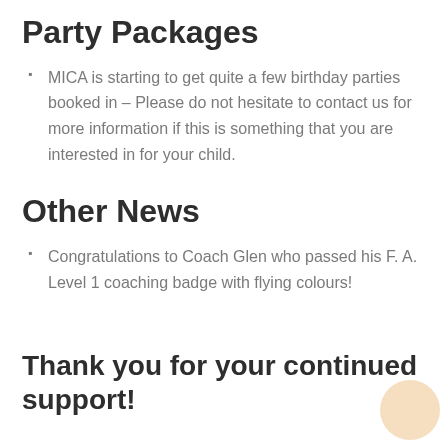Party Packages
MICA is starting to get quite a few birthday parties booked in – Please do not hesitate to contact us for more information if this is something that you are interested in for your child.
Other News
Congratulations to Coach Glen who passed his F. A. Level 1 coaching badge with flying colours!
Thank you for your continued support!